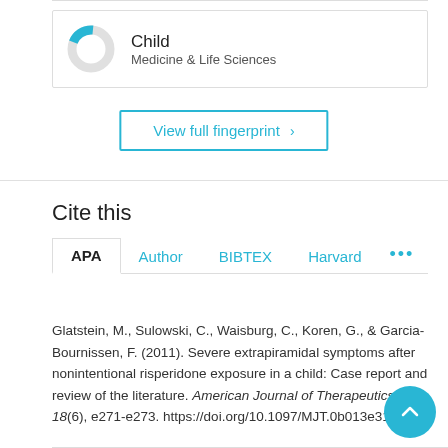[Figure (donut-chart): Donut chart with cyan/teal segment representing 'Child' category in Medicine & Life Sciences]
Child
Medicine & Life Sciences
View full fingerprint >
Cite this
APA  Author  BIBTEX  Harvard  ...
Glatstein, M., Sulowski, C., Waisburg, C., Koren, G., & Garcia-Bournissen, F. (2011). Severe extrapiramidal symptoms after nonintentional risperidone exposure in a child: Case report and review of the literature. American Journal of Therapeutics, 18(6), e271-e273. https://doi.org/10.1097/MJT.0b013e3181deb